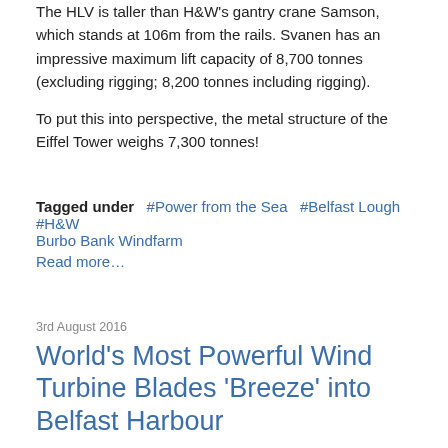The HLV is taller than H&W's gantry crane Samson, which stands at 106m from the rails. Svanen has an impressive maximum lift capacity of 8,700 tonnes (excluding rigging; 8,200 tonnes including rigging).
To put this into perspective, the metal structure of the Eiffel Tower weighs 7,300 tonnes!
Tagged under  #Power from the Sea  #Belfast Lough  #H&W  Burbo Bank Windfarm
Read more…
3rd August 2016
World's Most Powerful Wind Turbine Blades 'Breeze' into Belfast Harbour
#MostPowerful - The world's most powerful wind turbine blades